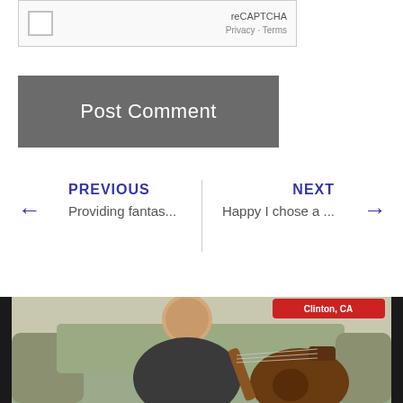[Figure (screenshot): reCAPTCHA checkbox widget with 'reCAPTCHA' label and 'Privacy - Terms' links]
[Figure (screenshot): Dark gray 'Post Comment' button]
← PREVIOUS
Providing fantas...
NEXT →
Happy I chose a ...
[Figure (photo): Man sitting on couch playing guitar with a red location badge reading 'Clinton, CA' in the top right corner]